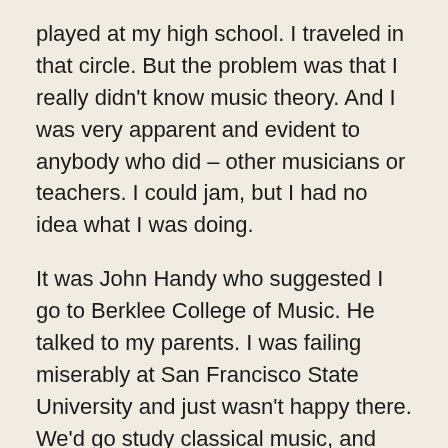played at my high school. I traveled in that circle. But the problem was that I really didn't know music theory. And I was very apparent and evident to anybody who did – other musicians or teachers. I could jam, but I had no idea what I was doing.
It was John Handy who suggested I go to Berklee College of Music. He talked to my parents. I was failing miserably at San Francisco State University and just wasn't happy there. We'd go study classical music, and then I'd go back to my dorm room and put on Weather Report. There was a real disconnect.
The summer of '76 changed it all. I went to Boston as a California kid. And I went to my first couple classes. It was James Taylor analyzing his lyrics, and Tower of Power analyzing their horn chart. And then, we got to work with Chicago. And I knew I had found home. I got into that school and locked myself  up for five